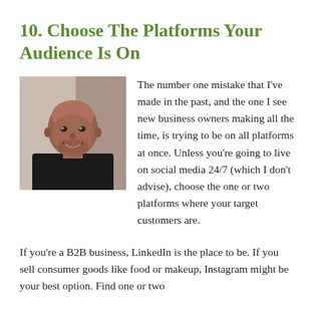10. Choose The Platforms Your Audience Is On
[Figure (photo): Headshot of a bald man smiling, wearing a dark shirt, photographed outdoors.]
The number one mistake that I've made in the past, and the one I see new business owners making all the time, is trying to be on all platforms at once. Unless you're going to live on social media 24/7 (which I don't advise), choose the one or two platforms where your target customers are.
If you're a B2B business, LinkedIn is the place to be. If you sell consumer goods like food or makeup, Instagram might be your best option. Find one or two